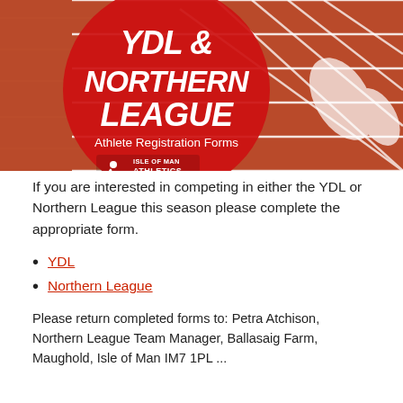[Figure (photo): Red athletics track with white lane markings and starting blocks. Overlaid with a large red circle containing bold white italic text 'YDL & NORTHERN LEAGUE', subtitle 'Athlete Registration Forms', and Isle of Man Athletics logo.]
If you are interested in competing in either the YDL or Northern League this season please complete the appropriate form.
YDL
Northern League
Please return completed forms to: Petra Atchison, Northern League Team Manager, Ballasaig Farm, Maughold, Isle of Man IM7 1PL ...